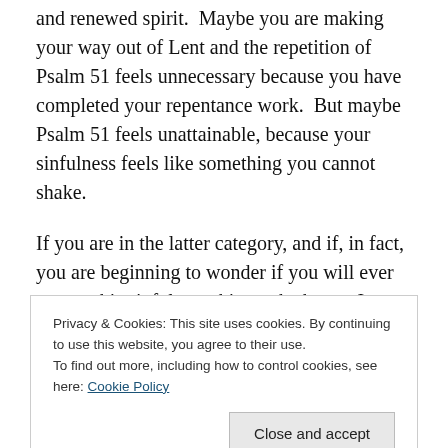and renewed spirit.  Maybe you are making your way out of Lent and the repetition of Psalm 51 feels unnecessary because you have completed your repentance work.  But maybe Psalm 51 feels unattainable, because your sinfulness feels like something you cannot shake.
If you are in the latter category, and if, in fact, you are beginning to wonder if you will ever master this sinfulness thing, take heart.  I actually say verse eleven of this psalm every time I celebrate the Eucharist.  Week in and week out, whether we are in Lent, Eastertide, or Ordinary time,
already celebrated Eucharist two times earlier in the
Privacy & Cookies: This site uses cookies. By continuing to use this website, you agree to their use.
To find out more, including how to control cookies, see here: Cookie Policy